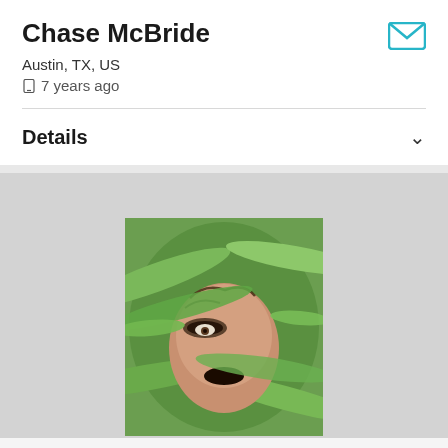Chase McBride
Austin, TX, US
7 years ago
Details
[Figure (photo): Close-up photo of a person with dramatic makeup including dark eye makeup and black lipstick, partially obscured by green leaves and foliage.]